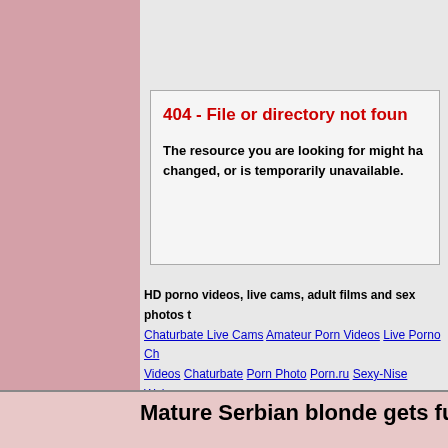Server Error
404 - File or directory not found.
The resource you are looking for might have been removed, had its name changed, or is temporarily unavailable.
HD porno videos, live cams, adult films and sex photos t... Chaturbate Live Cams Amateur Porn Videos Live Porno Ch... Videos Chaturbate Porn Photo Porn.ru Sexy-Nise Webcam... American Porno U Porno TOP Porno.org Porno Rocks Tits Po... Teen Porno Vids Celebrity Porn Videos Free Porno HD Fr... Japanese Porno Videos Chaturbate Mirror Asian Shemale Tu... Hentai Manga Comics Gold JAV Free Free Japanese Por... Bongacams Porno Chat Live Porno Cams Sex.porn.com XXX... Porno Pics Manga Porno Porno Games Gay Porno Xvideos H... Teen Porno Porn Pics PornHub Videos JAV.porn Hard Sex Vic... Porno Porno Video Lesbi Porno XXX Porno HD Pics Hentai JA...
Mature Serbian blonde gets fu...